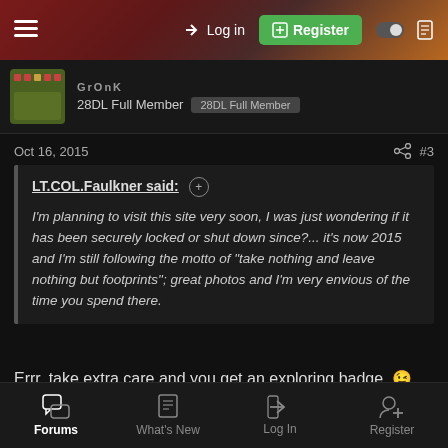Log in  Register
GrOnK
28DL Full Member  28DL Full Member
Oct 16, 2015  #3
LT.COL.Faulkner said: I'm planning to visit this site very soon, I was just wondering if it has been securely locked or shut down since?... it's now 2015 and I'm still following the motto of "take nothing and leave nothing but footprints"; great photos and I'm very envious of the time you spend there.
Errr, take extra care and you get an exploring badge. 😉
Nice one @Speed
Forums  What's New  Log In  Register